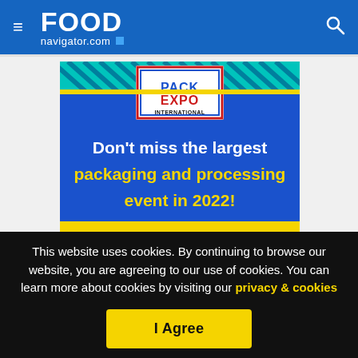FOOD navigator.com
[Figure (advertisement): Pack Expo International advertisement banner showing 'Don't miss the largest packaging and processing event in 2022!' text on blue and teal background with Pack Expo International logo]
This website uses cookies. By continuing to browse our website, you are agreeing to our use of cookies. You can learn more about cookies by visiting our privacy & cookies policy page.
I Agree